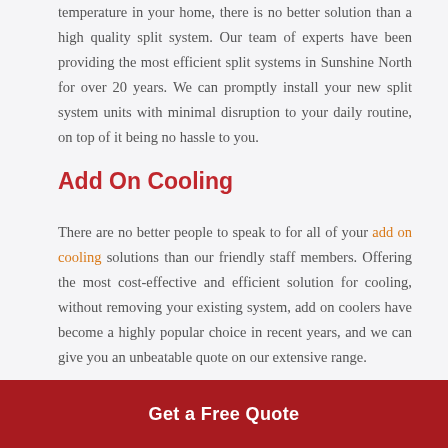temperature in your home, there is no better solution than a high quality split system. Our team of experts have been providing the most efficient split systems in Sunshine North for over 20 years. We can promptly install your new split system units with minimal disruption to your daily routine, on top of it being no hassle to you.
Add On Cooling
There are no better people to speak to for all of your add on cooling solutions than our friendly staff members. Offering the most cost-effective and efficient solution for cooling, without removing your existing system, add on coolers have become a highly popular choice in recent years, and we can give you an unbeatable quote on our extensive range.
Get a Free Quote